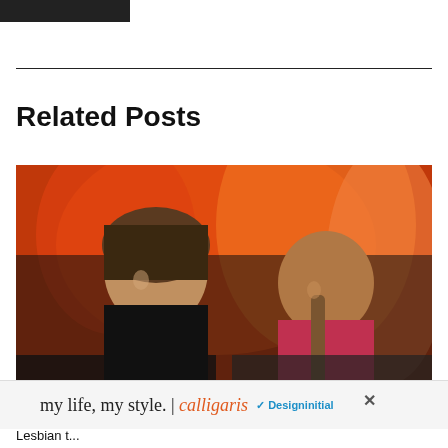[Figure (photo): Dark thumbnail image at top left, partially cropped]
Related Posts
[Figure (photo): Two people posing in front of a fiery red background. One person on the left has short hair and wears a black shirt; the other on the right has braids and wears a pink outfit.]
[Figure (photo): Advertisement banner: 'my life, my style. | calligaris' with a Designinitial logo]
Lesbian t...